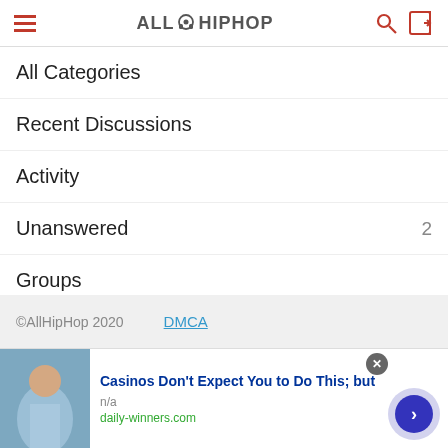AllHipHop
All Categories
Recent Discussions
Activity
Unanswered   2
Groups
Unanswered   2
Best Of
©AllHipHop 2020   DMCA
[Figure (infographic): Advertisement banner: image of a man in blue shirt, headline 'Casinos Don't Expect You to Do This; but', source n/a, url daily-winners.com, with close button and arrow navigation button]